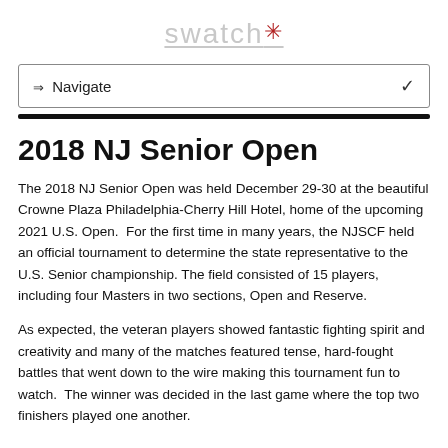swatch*
2018 NJ Senior Open
The 2018 NJ Senior Open was held December 29-30 at the beautiful Crowne Plaza Philadelphia-Cherry Hill Hotel, home of the upcoming 2021 U.S. Open.  For the first time in many years, the NJSCF held an official tournament to determine the state representative to the U.S. Senior championship. The field consisted of 15 players, including four Masters in two sections, Open and Reserve.
As expected, the veteran players showed fantastic fighting spirit and creativity and many of the matches featured tense, hard-fought battles that went down to the wire making this tournament fun to watch.  The winner was decided in the last game where the top two finishers played one another.